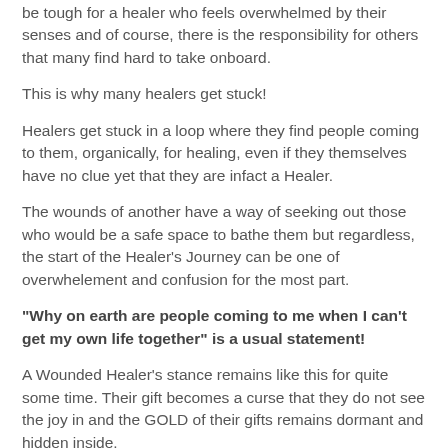be tough for a healer who feels overwhelmed by their senses and of course, there is the responsibility for others that many find hard to take onboard.
This is why many healers get stuck!
Healers get stuck in a loop where they find people coming to them, organically, for healing, even if they themselves have no clue yet that they are infact a Healer.
The wounds of another have a way of seeking out those who would be a safe space to bathe them but regardless, the start of the Healer's Journey can be one of overwhelement and confusion for the most part.
"Why on earth are people coming to me when I can't get my own life together" is a usual statement!
A Wounded Healer's stance remains like this for quite some time. Their gift becomes a curse that they do not see the joy in and the GOLD of their gifts remains dormant and hidden inside.